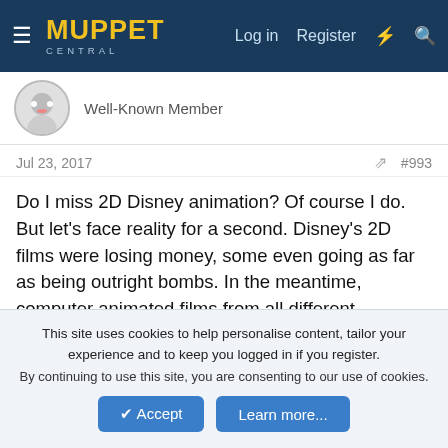Muppet Central — Log in | Register
Well-Known Member
Jul 23, 2017   #993
Do I miss 2D Disney animation? Of course I do. But let's face reality for a second. Disney's 2D films were losing money, some even going as far as being outright bombs. In the meantime, computer animated films from all different companies have been massive hits these past 15 years, and have broken all sorts of box office records. CG films like Tangled, Wreck It Ralph, Frozen, Big Hero 6, Zootopia and Moana have not only been massive hits but also (gasp!) really well made movies, some of the best films Disney has made since the early '90s. To ****
This site uses cookies to help personalise content, tailor your experience and to keep you logged in if you register.
By continuing to use this site, you are consenting to our use of cookies.